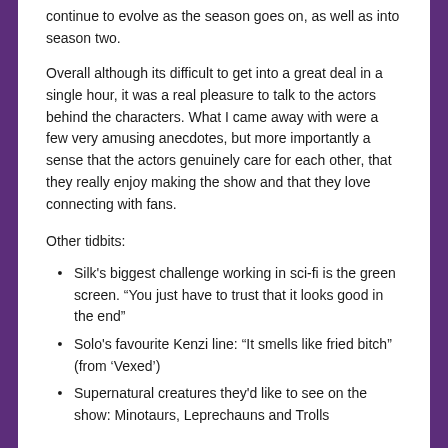continue to evolve as the season goes on, as well as into season two.
Overall although its difficult to get into a great deal in a single hour, it was a real pleasure to talk to the actors behind the characters. What I came away with were a few very amusing anecdotes, but more importantly a sense that the actors genuinely care for each other, that they really enjoy making the show and that they love connecting with fans.
Other tidbits:
Silk's biggest challenge working in sci-fi is the green screen. “You just have to trust that it looks good in the end”
Solo's favourite Kenzi line: “It smells like fried bitch” (from ‘Vexed’)
Supernatural creatures they’d like to see on the show: Minotaurs, Leprechauns and Trolls